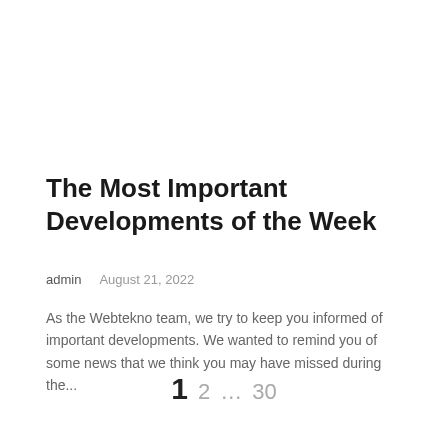The Most Important Developments of the Week
admin    August 21, 2022
As the Webtekno team, we try to keep you informed of important developments. We wanted to remind you of some news that we think you may have missed during the...
1  2  ...  30